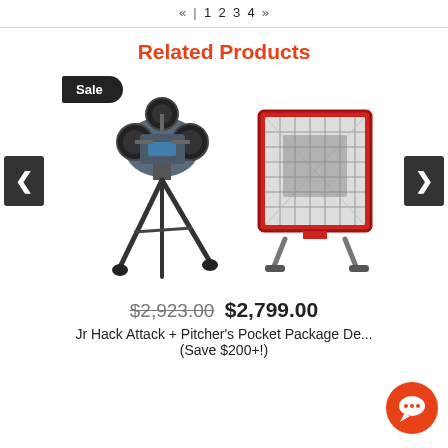« | 1 2 3 4 »
Related Products
[Figure (screenshot): Carousel of related sports products showing a pitching machine (Jr Hack Attack) on a tripod with a Sale badge, and a red Pitcher's Pocket backstop net, with left and right navigation arrows]
$2,923.00  $2,799.00
Jr Hack Attack + Pitcher's Pocket Package De... (Save $200+!)